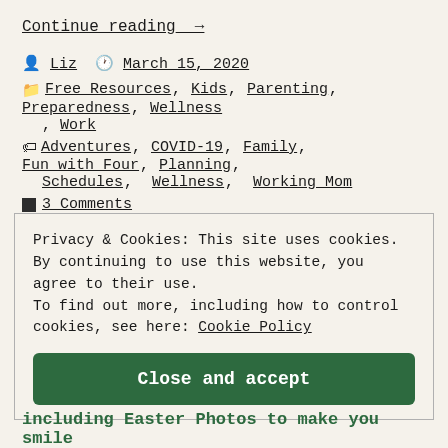Continue reading →
Liz   March 15, 2020
Categories: Free Resources, Kids, Parenting, Preparedness, Wellness, Work
Tags: Adventures, COVID-19, Family, Fun with Four, Planning, Schedules, Wellness, Working Mom
3 Comments
Privacy & Cookies: This site uses cookies. By continuing to use this website, you agree to their use. To find out more, including how to control cookies, see here: Cookie Policy
Close and accept
including Easter Photos to make you smile